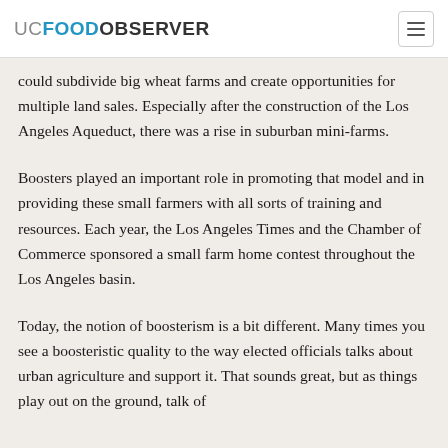UC FOOD OBSERVER
could subdivide big wheat farms and create opportunities for multiple land sales. Especially after the construction of the Los Angeles Aqueduct, there was a rise in suburban mini-farms.
Boosters played an important role in promoting that model and in providing these small farmers with all sorts of training and resources. Each year, the Los Angeles Times and the Chamber of Commerce sponsored a small farm home contest throughout the Los Angeles basin.
Today, the notion of boosterism is a bit different. Many times you see a boosteristic quality to the way elected officials talks about urban agriculture and support it. That sounds great, but as things play out on the ground, talk of